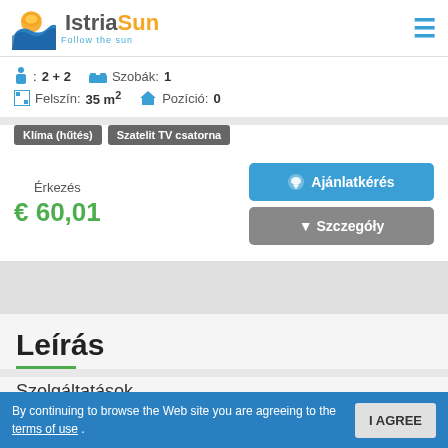IstriaSun – Follow the sun
2 + 2  Szobák: 1  Felszín: 35 m²  Pozíció: 0
Klíma (hűtés)  Szatelit TV csatorna
Érkezés
€ 60,01
Ajánlatkérés
Szczegóły
Leírás
Szolgáltatások
By continuing to browse the Web site you are agreeing to the terms of use .